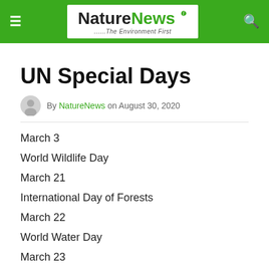NatureNews — The Environment First
UN Special Days
By NatureNews on August 30, 2020
March 3
World Wildlife Day
March 21
International Day of Forests
March 22
World Water Day
March 23